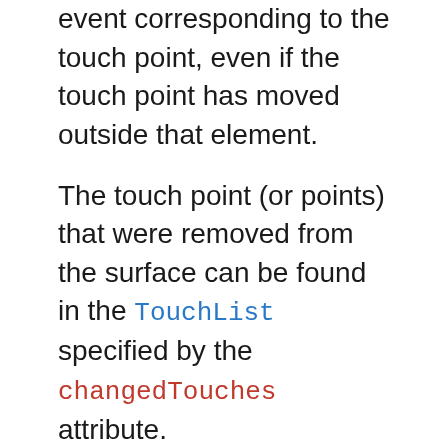event corresponding to the touch point, even if the touch point has moved outside that element.
The touch point (or points) that were removed from the surface can be found in the TouchList specified by the changedTouches attribute.
touchmove
Sent when the user moves a touch point along the surface. The event's target is the same element that received the touchstart event corresponding to the touch point, even if the touch point has moved outside that element.